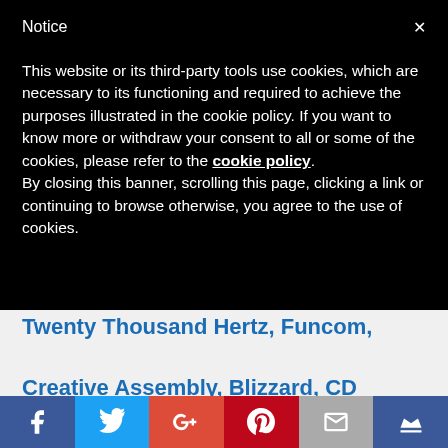Notice
This website or its third-party tools use cookies, which are necessary to its functioning and required to achieve the purposes illustrated in the cookie policy. If you want to know more or withdraw your consent to all or some of the cookies, please refer to the cookie policy.
By closing this banner, scrolling this page, clicking a link or continuing to browse otherwise, you agree to the use of cookies.
Twenty Thousand Hertz, Funcom, Creative Assembly, Blizzard, CD Projekt Red, and Ninja Theory
By Adriane Kuzminski | Audio Jobs